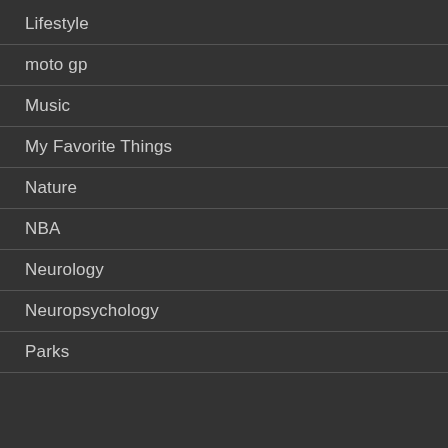Lifestyle
moto gp
Music
My Favorite Things
Nature
NBA
Neurology
Neuropsychology
Parks